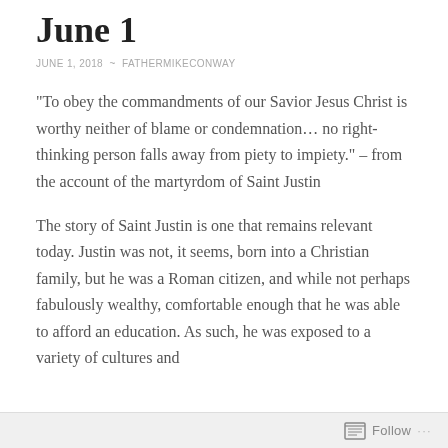June 1
JUNE 1, 2018  ~  FATHERMIKECONWAY
"To obey the commandments of our Savior Jesus Christ is worthy neither of blame or condemnation... no right-thinking person falls away from piety to impiety."  – from the account of the martyrdom of Saint Justin
The story of Saint Justin is one that remains relevant today.  Justin was not, it seems, born into a Christian family, but he was a Roman citizen, and while not perhaps fabulously wealthy, comfortable enough that he was able to afford an education.  As such, he was exposed to a variety of cultures and
Follow